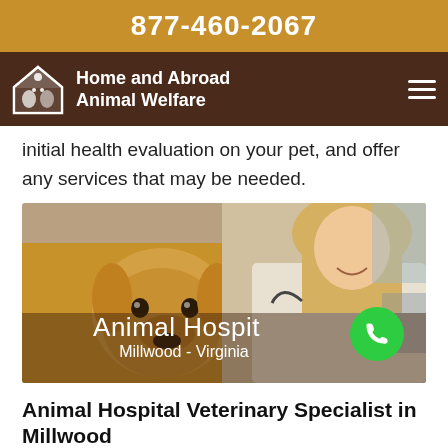877-460-2067
[Figure (logo): Home and Abroad Animal Welfare logo with house and paw print icon]
initial health evaluation on your pet, and offer any services that may be needed.
[Figure (photo): Veterinarian examining a golden retriever dog in a clinic setting. Overlay text reads: Animal Hospital, Millwood - Virginia. Green phone call button in bottom right.]
Animal Hospital Veterinary Specialist in Millwood